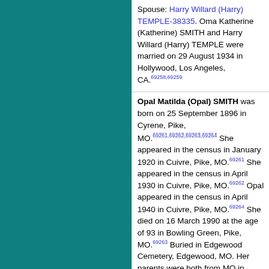Spouse: Harry Willard (Harry) TEMPLE-38335. Oma Katherine (Katherine) SMITH and Harry Willard (Harry) TEMPLE were married on 29 August 1934 in Hollywood, Los Angeles, CA. [69258,69259]
Opal Matilda (Opal) SMITH was born on 25 September 1896 in Cyrene, Pike, MO. [69261,69262,69263,69264] She appeared in the census in January 1920 in Cuivre, Pike, MO. [69261] She appeared in the census in April 1930 in Cuivre, Pike, MO. [69262] Opal appeared in the census in April 1940 in Cuivre, Pike, MO. [69264] She died on 16 March 1990 at the age of 93 in Bowling Green, Pike, MO. [69263] Buried in Edgewood Cemetery, Edgewood, MO. Her parents were both from MO in 1920, but her father was from IL in 1930. Parents: John SMITH-69855 and Annie HEDGES-69856.
Spouse: Joe Russell (Russell) TEMPLE-53662. Opal Matilda (Opal) SMITH and Joe Russell (Russell) TEMPLE were married on 20 October 1915 in MO. [69262,69263]
Ora SMITH [57702] died.
Spouse: Heckla ROSENER-116662. Heckla ROSENER and Ora SMITH were married before 1916. Children were: Marguerite Elizabeth SMITH-87586.
Ora Elsie SMITH [12795,69265,69266] was born on 24 November 1868 in Guernsey Co.